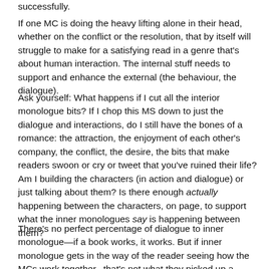successfully.
If one MC is doing the heavy lifting alone in their head, whether on the conflict or the resolution, that by itself will struggle to make for a satisfying read in a genre that's about human interaction. The internal stuff needs to support and enhance the external (the behaviour, the dialogue).
Ask yourself: What happens if I cut all the interior monologue bits? If I chop this MS down to just the dialogue and interactions, do I still have the bones of a romance: the attraction, the enjoyment of each other's company, the conflict, the desire, the bits that make readers swoon or cry or tweet that you've ruined their life? Am I building the characters (in action and dialogue) or just talking about them? Is there enough actually happening between the characters, on page, to support what the inner monologues say is happening between them?
There's no perfect percentage of dialogue to inner monologue—if a book works, it works. But if inner monologue gets in the way of the reader seeing how the MCs work together...that's not what they picked up a romance for.